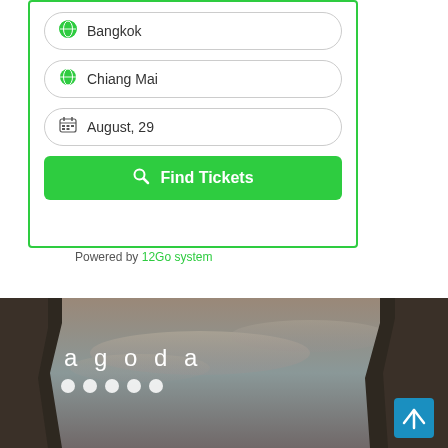Bangkok
Chiang Mai
August, 29
Find Tickets
Powered by 12Go system
[Figure (screenshot): Agoda hotel booking banner with rocky canyon landscape background, agoda logo with dots in top-left, and a blue scroll-to-top button in the bottom-right corner]